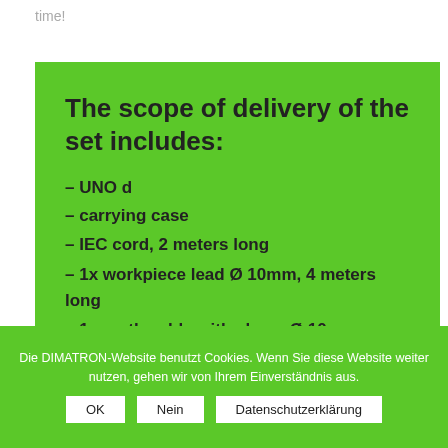time!
The scope of delivery of the set includes:
– UNO d
– carrying case
– IEC cord, 2 meters long
– 1x workpiece lead Ø 10mm, 4 meters long
– 1x earth cable with clamp Ø 10 mm,
2 meters in length
Die DIMATRON-Website benutzt Cookies. Wenn Sie diese Website weiter nutzen, gehen wir von Ihrem Einverständnis aus.